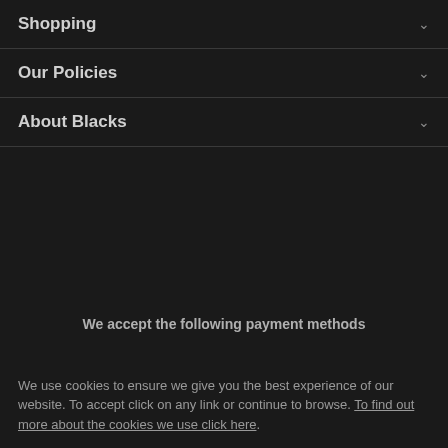Shopping
Our Policies
About Blacks
We accept the following payment methods
We use cookies to ensure we give you the best experience of our website. To accept click on any link or continue to browse. To find out more about the cookies we use click here.